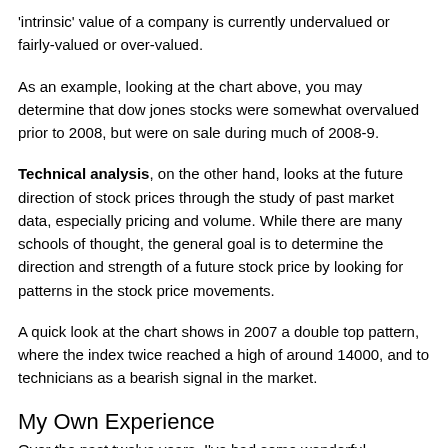'intrinsic' value of a company is currently undervalued or fairly-valued or over-valued.
As an example, looking at the chart above, you may determine that dow jones stocks were somewhat overvalued prior to 2008, but were on sale during much of 2008-9.
Technical analysis, on the other hand, looks at the future direction of stock prices through the study of past market data, especially pricing and volume. While there are many schools of thought, the general goal is to determine the direction and strength of a future stock price by looking for patterns in the stock price movements.
A quick look at the chart shows in 2007 a double top pattern, where the index twice reached a high of around 14000, and to technicians as a bearish signal in the market.
My Own Experience
Over the past twelve years, I've had some wonderful successes and abysmal failures in stock trading, all of which I